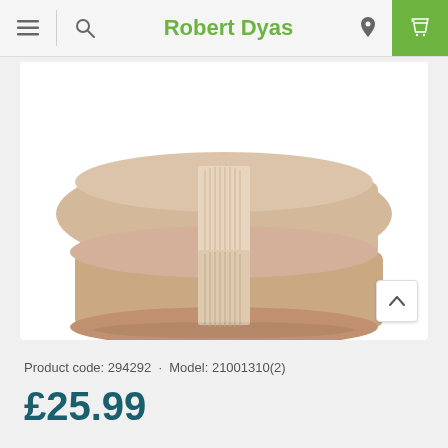Robert Dyas
[Figure (photo): Two stacked folded beige/cream bath towels with ribbed border detail, photographed on a white background.]
Product code: 294292 · Model: 21001310(2)
£25.99